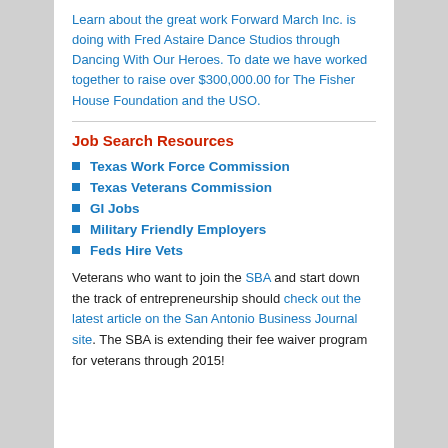Learn about the great work Forward March Inc. is doing with Fred Astaire Dance Studios through Dancing With Our Heroes. To date we have worked together to raise over $300,000.00 for The Fisher House Foundation and the USO.
Job Search Resources
Texas Work Force Commission
Texas Veterans Commission
GI Jobs
Military Friendly Employers
Feds Hire Vets
Veterans who want to join the SBA and start down the track of entrepreneurship should check out the latest article on the San Antonio Business Journal site. The SBA is extending their fee waiver program for veterans through 2015!